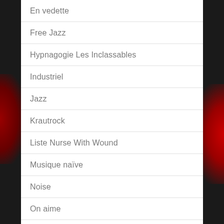En vedette
Free Jazz
Hypnagogie Les Inclassables
Industriel
Jazz
Krautrock
Liste Nurse With Wound
Musique naïve
Noise
On aime